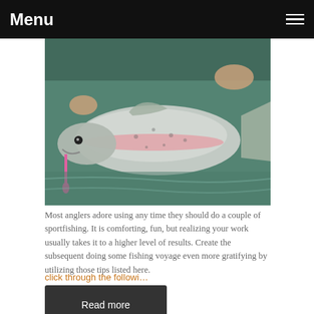Menu
[Figure (photo): A large steelhead or rainbow trout being held by a person standing in a river. The fish is silver with a pink stripe and has a pink lure/bait visible near its mouth. Green water in background.]
Most anglers adore using any time they should do a couple of sportfishing. It is comforting, fun, but realizing your work usually takes it to a higher level of results. Create the subsequent doing some fishing voyage even more gratifying by utilizing those tips listed here.
click through the followi…
Read more
0 comments   Posted in General   Tags blog